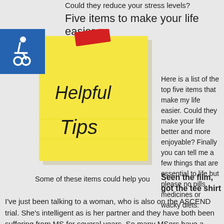Could they reduce your stress levels?
Five items to make your life easier
[Figure (illustration): A yellow sticky note with a red tape mark at the top, with handwritten text reading 'Helpful Tips']
Here is a list of the top five items that make my life easier. Could they make your life better and more enjoyable? Finally you can tell me a few things that are essential to life but please no pills, medicines or wacky diets.
Some of these items could help you
Seen the film, got the tee shirt
I've just been talking to a woman, who is also on the ASCEND trial. She's intelligent as is her partner and they have both been suffering from MS for several years. So many MSers have a bladder from hell and he is one of them, it's nothing like the original model. Whenever he goes